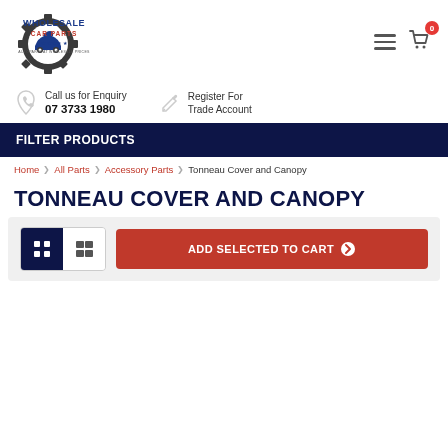[Figure (logo): Wholesale Car Parts logo — gear/cog shape with a car silhouette and the text WHOLESALE CAR PARTS AUTOPARTS AT WHOLESALE PRICES]
Call us for Enquiry
07 3733 1980
Register For Trade Account
FILTER PRODUCTS
Home > All Parts > Accessory Parts > Tonneau Cover and Canopy
TONNEAU COVER AND CANOPY
ADD SELECTED TO CART